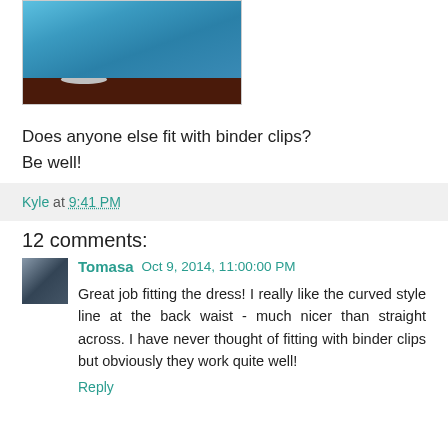[Figure (photo): Photo of a blue dress hanging on a clothing rack/stand against a dark floor background]
Does anyone else fit with binder clips?
Be well!
Kyle at 9:41 PM
12 comments:
Tomasa  Oct 9, 2014, 11:00:00 PM
Great job fitting the dress! I really like the curved style line at the back waist - much nicer than straight across. I have never thought of fitting with binder clips but obviously they work quite well!
Reply